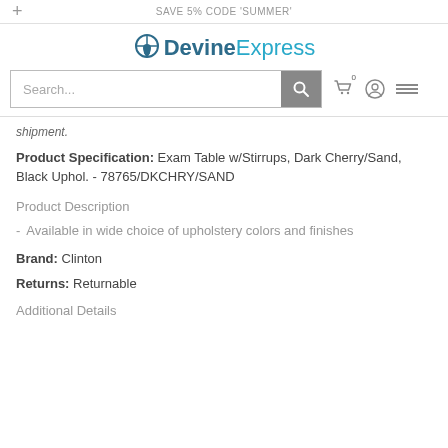+ SAVE 5% CODE 'SUMMER'
[Figure (logo): DevineExpress logo with location pin icon]
[Figure (screenshot): Search bar with search button and cart/user/menu icons]
shipment.
Product Specification: Exam Table w/Stirrups, Dark Cherry/Sand, Black Uphol. - 78765/DKCHRY/SAND
Product Description
Available in wide choice of upholstery colors and finishes
Brand: Clinton
Returns: Returnable
Additional Details